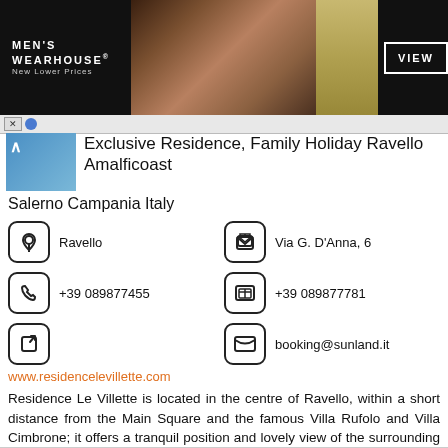[Figure (photo): Men's Wearhouse advertisement banner with couple in formal wear, suit photo, VIEW button]
Exclusive Residence, Family Holiday Ravello Amalficoast
Salerno Campania Italy
Ravello
Via G. D'Anna, 6
+39 089877455
+39 089877781
booking@sunland.it
www.residencelevillette.com
Residence Le Villette is located in the centre of Ravello, within a short distance from the Main Square and the famous Villa Rufolo and Villa Cimbrone; it offers a tranquil position and lovely view of the surrounding wooded hillside can be enjoyed from...